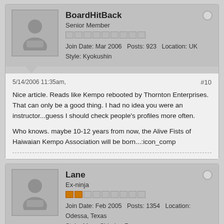BoardHitBack
Senior Member
Join Date: Mar 2006  Posts: 923  Location: UK
Style: Kyokushin
5/14/2006 11:35am,
#10
Nice article. Reads like Kempo rebooted by Thornton Enterprises. That can only be a good thing. I had no idea you were an instructor...guess I should check people's profiles more often.

Who knows. maybe 10-12 years from now, the Alive Fists of Haiwaian Kempo Association will be born...:icon_comp
Lane
Ex-ninja
Join Date: Feb 2005  Posts: 1354  Location: Odessa, Texas
Style: Muso Shinden Ryu
5/14/2006 11:42am,
#11